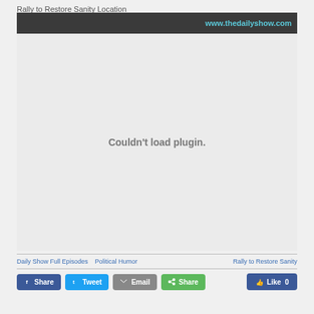Rally to Restore Sanity Location
www.thedailyshow.com
[Figure (other): Embedded video player area showing 'Couldn't load plugin.' error message on a light grey background]
Daily Show Full Episodes   Political Humor   Rally to Restore Sanity
Share   Tweet   Email   Share   Like 0